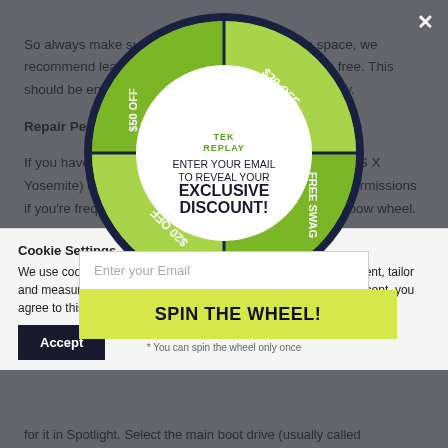So always make sure your Mac has enough free space, we recommend leaving at least 10% of your total space free. This should be enough to keep everything running smoothly.
Repair Permissions*
If you have an older Mac operating system like 10.10 (OS X Yosemite) or earlier, you can benefit by repairing disk permissions if you're frequently being bothered by the spinning rainbow wheel.
If you're not sure which version of macOS you're running, click
[Figure (infographic): Spin-to-win wheel popup from TekReplay with sections labeled $20 OFF, FREE SWAG, $10 OFF, $20 OFF. Center shows logo and text: ENTER YOUR EMAIL TO REVEAL YOUR EXCLUSIVE DISCOUNT!]
Enter your Email
SPIN THE WHEEL!
* You can spin the wheel only once
Cookie Settings
We use cookies and similar technologies to help personalize content, tailor and measure ads, and provide a better experience. By clicking accept, you agree to this, as outlined in our Cookie Policy.
Accept
for it in Spotlight. Select the main boot drive (usually called